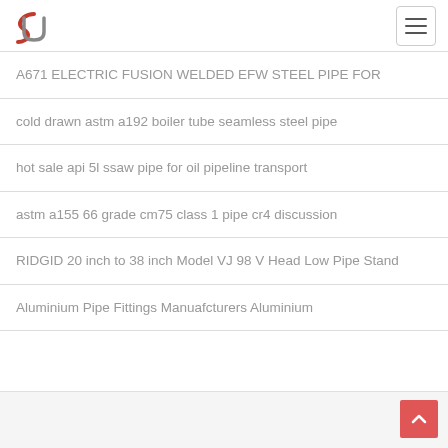A671 ELECTRIC FUSION WELDED EFW STEEL PIPE FOR
cold drawn astm a192 boiler tube seamless steel pipe
hot sale api 5l ssaw pipe for oil pipeline transport
astm a155 66 grade cm75 class 1 pipe cr4 discussion
RIDGID 20 inch to 38 inch Model VJ 98 V Head Low Pipe Stand
Aluminium Pipe Fittings Manuafcturers Aluminium